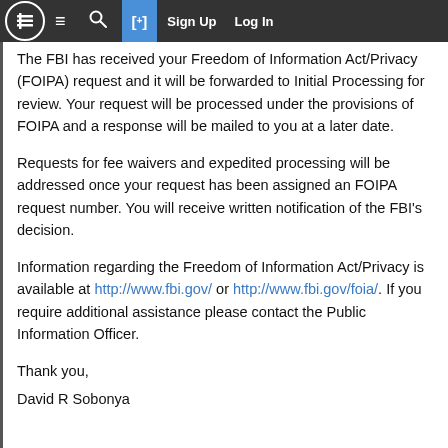FBI FOIPA website header with logo, hamburger menu, search, sign up, and log in
The FBI has received your Freedom of Information Act/Privacy (FOIPA) request and it will be forwarded to Initial Processing for review. Your request will be processed under the provisions of FOIPA and a response will be mailed to you at a later date.
Requests for fee waivers and expedited processing will be addressed once your request has been assigned an FOIPA request number. You will receive written notification of the FBI's decision.
Information regarding the Freedom of Information Act/Privacy is available at http://www.fbi.gov/ or http://www.fbi.gov/foia/. If you require additional assistance please contact the Public Information Officer.
Thank you,
David R Sobonya